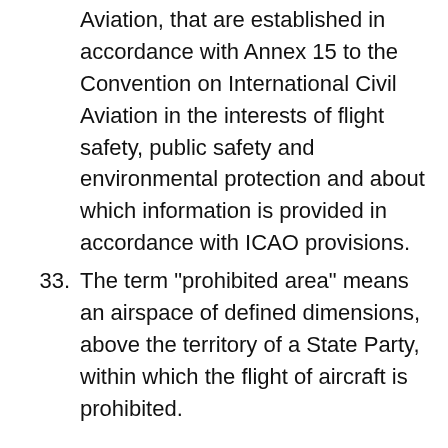the Convention on International Civil Aviation, that are established in accordance with Annex 15 to the Convention on International Civil Aviation in the interests of flight safety, public safety and environmental protection and about which information is provided in accordance with ICAO provisions.
33. The term "prohibited area" means an airspace of defined dimensions, above the territory of a State Party, within which the flight of aircraft is prohibited.